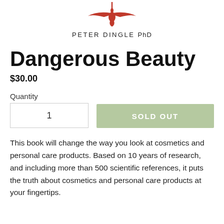[Figure (logo): Red stylized dragonfly or insect logo above author name]
PETER DINGLE PhD
Dangerous Beauty
$30.00
Quantity
1
SOLD OUT
This book will change the way you look at cosmetics and personal care products. Based on 10 years of research, and including more than 500 scientific references, it puts the truth about cosmetics and personal care products at your fingertips.